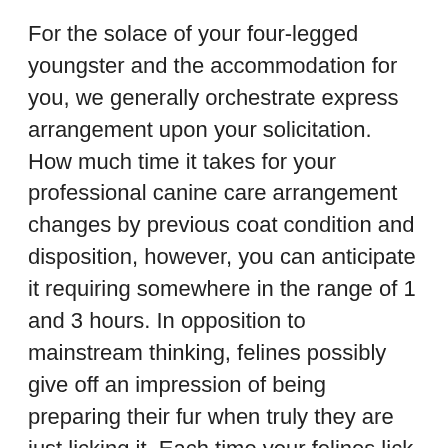For the solace of your four-legged youngster and the accommodation for you, we generally orchestrate express arrangement upon your solicitation. How much time it takes for your professional canine care arrangement changes by previous coat condition and disposition, however, you can anticipate it requiring somewhere in the range of 1 and 3 hours. In opposition to mainstream thinking, felines possibly give off an impression of being preparing their fur when truly they are just licking it. Each time your felines lick their fur, they are ingesting soil and free hair. Being unpalatable, the hair going through your feline's stomach and digestion tracts meets up and structures dreadful hairballs.
Does your feline have any of these issues like hairballs, tangled fur, long and sharp hooks, disgusting stuff in